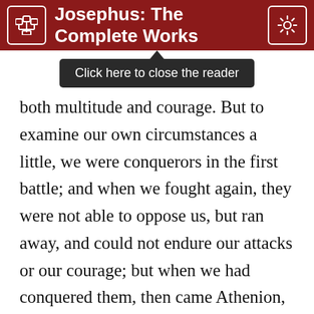Josephus: The Complete Works
both multitude and courage. But to examine our own circumstances a little, we were conquerors in the first battle; and when we fought again, they were not able to oppose us, but ran away, and could not endure our attacks or our courage; but when we had conquered them, then came Athenion, and made war against us without declaring it; and pray, is this an instance of their manhood? or is it not a second instance of their wickedness and treachery? Why are we therefore of less courage, on account of that which ought to inspire us with stronger hopes? and why are we terrified at these, who, when they